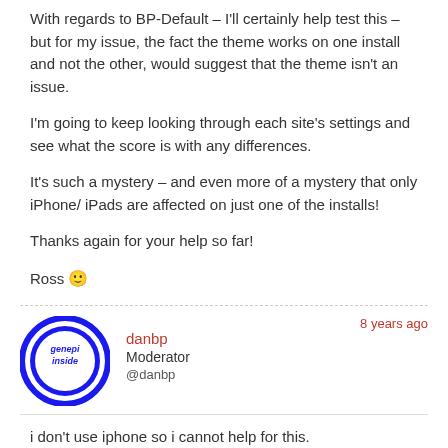With regards to BP-Default – I'll certainly help test this – but for my issue, the fact the theme works on one install and not the other, would suggest that the theme isn't an issue.
I'm going to keep looking through each site's settings and see what the score is with any differences.
It's such a mystery – and even more of a mystery that only iPhone/ iPads are affected on just one of the installs!
Thanks again for your help so far!
Ross 🙂
8 years ago
[Figure (logo): Circular blue logo with 'genepi inside' text in the style of the Intel Inside logo]
danbp
Moderator
@danbp
i don't use iphone so i cannot help for this.
But if you use two different DB, it could be possible that they have not the same version # or the same table type (myisam vs. innodb for ex.). Such details can explain why you get some behaviour issue with apparently the same settings.